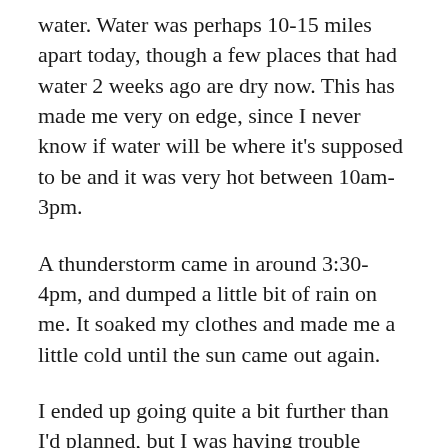water. Water was perhaps 10-15 miles apart today, though a few places that had water 2 weeks ago are dry now. This has made me very on edge, since I never know if water will be where it's supposed to be and it was very hot between 10am-3pm.
A thunderstorm came in around 3:30-4pm, and dumped a little bit of rain on me. It soaked my clothes and made me a little cold until the sun came out again.
I ended up going quite a bit further than I'd planned, but I was having trouble stopping. I'm definitely dehydrated, despite drinking more than 8 liters of water today. The river where I was planning to end (and is supposed to be reliable) was dry. Luckily, I've become more cautious and so I had 1.5 liters with me, which should be